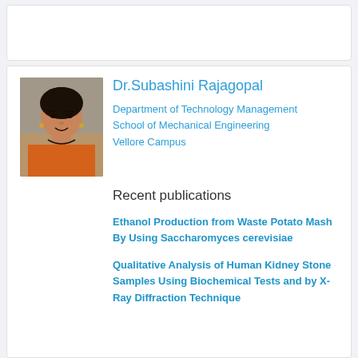[Figure (photo): Profile photo of Dr.Subashini Rajagopal, a woman in an orange top]
Dr.Subashini Rajagopal
Department of Technology Management
School of Mechanical Engineering
Vellore Campus
Recent publications
Ethanol Production from Waste Potato Mash By Using Saccharomyces cerevisiae
Qualitative Analysis of Human Kidney Stone Samples Using Biochemical Tests and by X-Ray Diffraction Technique